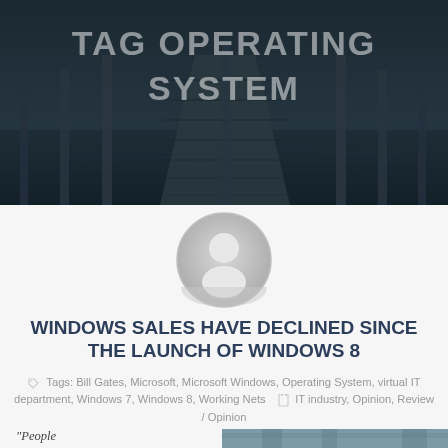[Figure (photo): Hero banner image: dark moody dock/pier extending into water, overlaid with translucent text TAG OPERATING SYSTEM]
TAG OPERATING SYSTEM
[Figure (illustration): Circular default user avatar icon, grey silhouette of a person on light grey background]
WINDOWS SALES HAVE DECLINED SINCE THE LAUNCH OF WINDOWS 8
Tags: Bill Gates, Microsoft, Microsoft Windows, Operating System, virtual IT department, Windows 7, Windows 8, Working Nets  IT industry, Opinion, Review / Opinion
“People